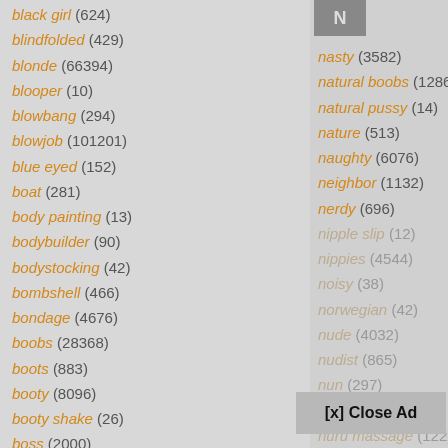black girl (624)
blindfolded (429)
blonde (66394)
blooper (10)
blowbang (294)
blowjob (101201)
blue eyed (152)
boat (281)
body painting (13)
bodybuilder (90)
bodystocking (42)
bombshell (466)
bondage (4676)
boobs (28368)
boots (883)
booty (8096)
booty shake (26)
boss (2000)
bottle (461)
N
nasty (3582)
natural boobs (12868)
natural pussy (14)
nature (513)
naughty (6076)
neighbor (1132)
nerdy (696)
nipple slip (12)
nippies (4544)
noisy (38)
norwegian (42)
nude (4032)
nudist (865)
nun (297)
nurse (1956)
nuru massage (122)
nylon (2405)
nympho (1202)